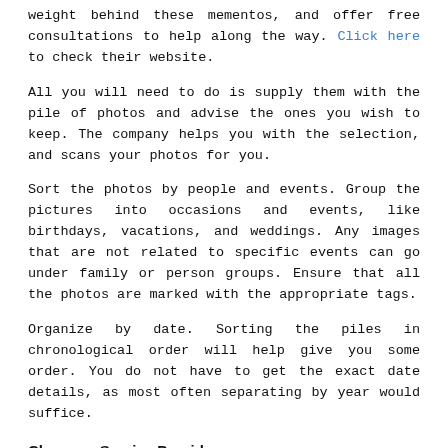weight behind these mementos, and offer free consultations to help along the way. Click here to check their website.
All you will need to do is supply them with the pile of photos and advise the ones you wish to keep. The company helps you with the selection, and scans your photos for you.
Sort the photos by people and events. Group the pictures into occasions and events, like birthdays, vacations, and weddings. Any images that are not related to specific events can go under family or person groups. Ensure that all the photos are marked with the appropriate tags.
Organize by date. Sorting the piles in chronological order will help give you some order. You do not have to get the exact date details, as most often separating by year would suffice.
Choose a Service Provider
[Figure (photo): Dark/black image area, likely a photo placeholder or beginning of an image]